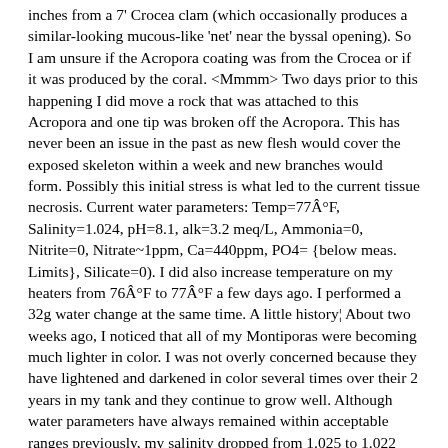inches from a 7' Crocea clam (which occasionally produces a similar-looking mucous-like 'net' near the byssal opening).  So I am unsure if the Acropora coating was from the Crocea or if it was produced by the coral. <Mmmm> Two days prior to this happening I did move a rock that was attached to this Acropora and one tip was broken off the Acropora.  This has never been an issue in the past as new flesh would cover the exposed skeleton within a week and new branches would form.  Possibly this initial stress is what led to the current tissue necrosis. Current water parameters: Temp=77Â°F, Salinity=1.024, pH=8.1, alk=3.2 meq/L, Ammonia=0, Nitrite=0, Nitrate~1ppm, Ca=440ppm, PO4={below meas. Limits}, Silicate=0).  I did also increase temperature on my heaters from 76Â°F to 77Â°F a few days ago.  I performed a 32g water change at the same time. A little history¦ About two weeks ago, I noticed that all of my Montiporas were becoming much lighter in color.  I was not overly concerned because they have lightened and darkened in color several times over their 2 years in my tank and they continue to grow well.  Although water parameters have always remained within acceptable ranges previously, my salinity dropped from 1.025 to 1.022 <This is a huge difference> over the course of a day just before the Montiporas changed color a few weeks ago.  A snail had